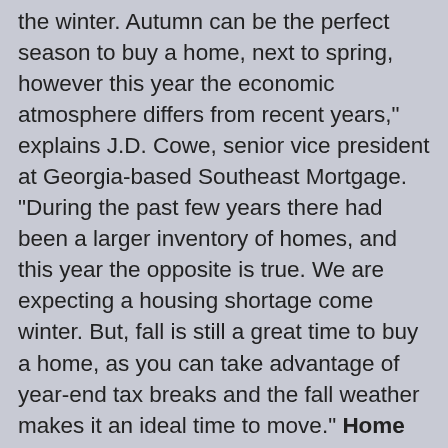the winter. Autumn can be the perfect season to buy a home, next to spring, however this year the economic atmosphere differs from recent years," explains J.D. Cowe, senior vice president at Georgia-based Southeast Mortgage. "During the past few years there had been a larger inventory of homes, and this year the opposite is true. We are expecting a housing shortage come winter. But, fall is still a great time to buy a home, as you can take advantage of year-end tax breaks and the fall weather makes it an ideal time to move." Home prices are on the rise: The longer you put off purchasing your new home in this real estate market, the more expensive your purchase price will likely be. This is in response to the U.S. home prices being on an upward trend. CoreLogic, an Irvine-Calif.-based data analysis firm, estimates that U.S. home prices have risen 12.4% from August 2012 to August 2013. However, the perfect time to buy your new home is when you're financially and emotionally ready for that obligation, which will likely be the biggest financial investment of your entire life. "Life events drive real estate decisions - the birth of a baby, looking for a better school, a loss - whether it be by death or divorce - a parent or family member moving in or out, illness, children moving off to college, a location change, a new job, and more."